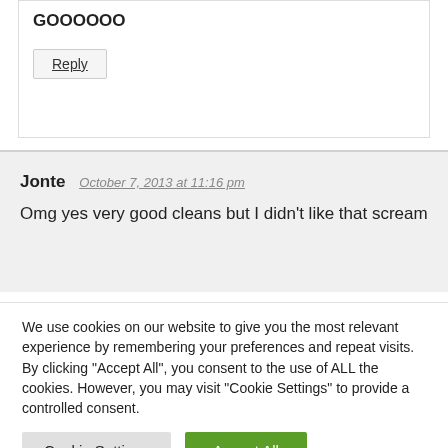GOOOOOO
Reply
Jonte   October 7, 2013 at 11:16 pm
Omg yes very good cleans but I didn't like that scream
We use cookies on our website to give you the most relevant experience by remembering your preferences and repeat visits. By clicking "Accept All", you consent to the use of ALL the cookies. However, you may visit "Cookie Settings" to provide a controlled consent.
Cookie Settings
Accept All